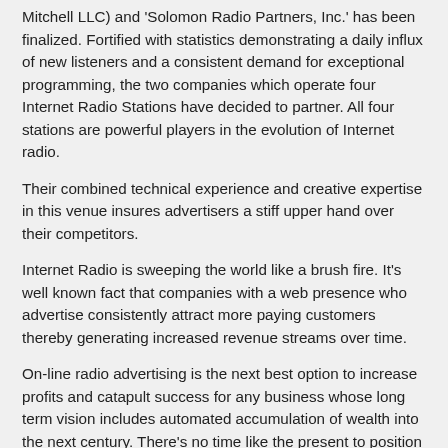Mitchell LLC) and 'Solomon Radio Partners, Inc.' has been finalized. Fortified with statistics demonstrating a daily influx of new listeners and a consistent demand for exceptional programming, the two companies which operate four Internet Radio Stations have decided to partner. All four stations are powerful players in the evolution of Internet radio.
Their combined technical experience and creative expertise in this venue insures advertisers a stiff upper hand over their competitors.
Internet Radio is sweeping the world like a brush fire. It's well known fact that companies with a web presence who advertise consistently attract more paying customers thereby generating increased revenue streams over time.
On-line radio advertising is the next best option to increase profits and catapult success for any business whose long term vision includes automated accumulation of wealth into the next century. There's no time like the present to position your company in a world wide market at a price that will enhance return on investment and not the other way around.
Dave Solomon, President, says, 'It is a phenomenal, cost effect way to advertise.'
Mitchell, CEO, says, 'When asked about how the Air Radio...